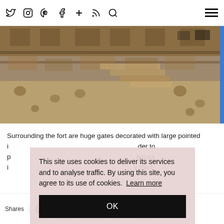Twitter Instagram Pinterest Facebook + RSS Search [hamburger menu]
[Figure (photo): Stone fort wall with large stone blocks, battlements/merlons visible at the top, and a stepped structure. Sandy colored ancient stonework.]
Surrounding the fort are huge gates decorated with large pointed i... der to p... konda i... y the f...
This site uses cookies to deliver its services and to analyse traffic. By using this site, you agree to its use of cookies.  Learn more
OK
Shares [Pinterest] [Twitter] [Facebook] [Email] [Crown]